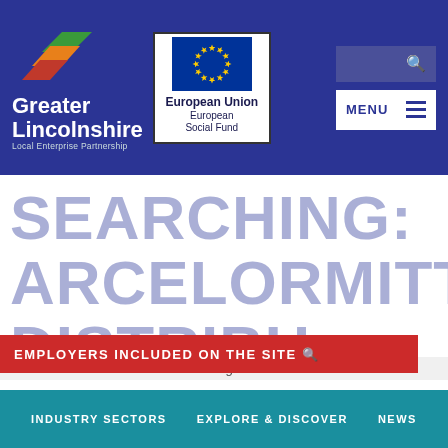[Figure (logo): Greater Lincolnshire Local Enterprise Partnership logo with chevron graphic in green, orange, red colours, and European Union European Social Fund logo with circle of gold stars on blue background]
EMPLOYERS INCLUDED ON THE SITE 🔍
SEARCHING: ARCELORMITTAL DISTRIBUTION SOLUTIONS UK LTD
Fetching Data
INDUSTRY SECTORS  EXPLORE & DISCOVER  NEWS